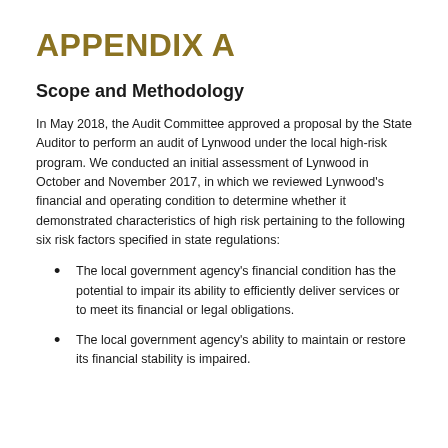APPENDIX A
Scope and Methodology
In May 2018, the Audit Committee approved a proposal by the State Auditor to perform an audit of Lynwood under the local high-risk program. We conducted an initial assessment of Lynwood in October and November 2017, in which we reviewed Lynwood's financial and operating condition to determine whether it demonstrated characteristics of high risk pertaining to the following six risk factors specified in state regulations:
The local government agency's financial condition has the potential to impair its ability to efficiently deliver services or to meet its financial or legal obligations.
The local government agency's ability to maintain or restore its financial stability is impaired.